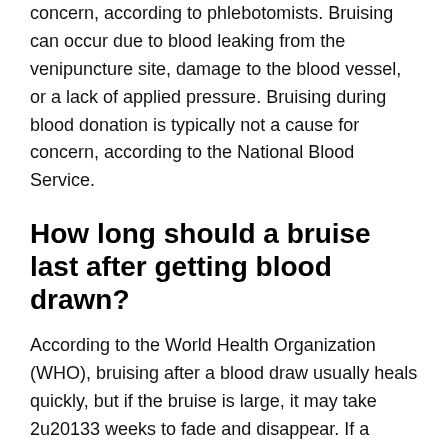concern, according to phlebotomists. Bruising can occur due to blood leaking from the venipuncture site, damage to the blood vessel, or a lack of applied pressure. Bruising during blood donation is typically not a cause for concern, according to the National Blood Service.
How long should a bruise last after getting blood drawn?
According to the World Health Organization (WHO), bruising after a blood draw usually heals quickly, but if the bruise is large, it may take 2u20133 weeks to fade and disappear. If a person experiences any of the following symptoms, they should contact their doctor: the hand becoming discolored.